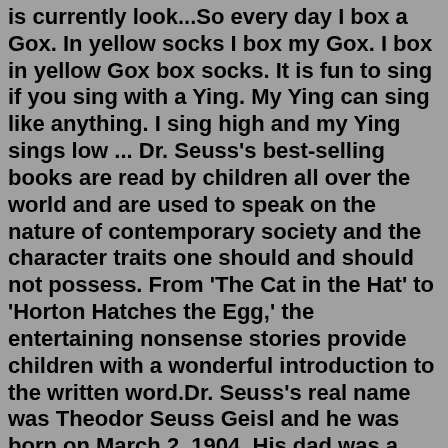is currently look...So every day I box a Gox. In yellow socks I box my Gox. I box in yellow Gox box socks. It is fun to sing if you sing with a Ying. My Ying can sing like anything. I sing high and my Ying sings low ... Dr. Seuss's best-selling books are read by children all over the world and are used to speak on the nature of contemporary society and the character traits one should and should not possess. From 'The Cat in the Hat' to 'Horton Hatches the Egg,' the entertaining nonsense stories provide children with a wonderful introduction to the written word.Dr. Seuss's real name was Theodor Seuss Geisl and he was born on March 2, 1904. His dad was a successful brewmaster, making drinks that he sold in around the state. His mom stayed home and took care of little Theodor. She liked to make up funny rhymes and would entertain him by making funny poems about pie flavours.Follow along and see if you can catch everything that is wacky. Subscribe to my channel for new books everyday!Please check out my website https://Pawbe.com... Feb 28, 2019 · Dr. Seuss